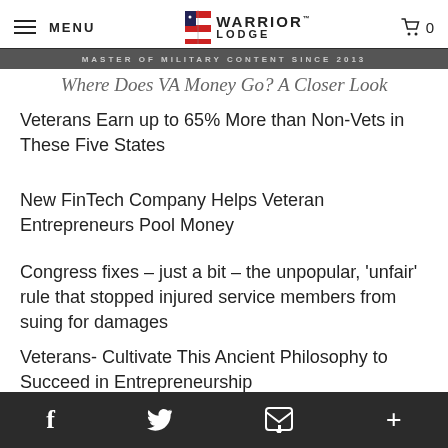MENU | WARRIOR LODGE™ | MASTER OF MILITARY CONTENT SINCE 2013 | 0
Veterans Earn up to 65% More than Non-Vets in These Five States
New FinTech Company Helps Veteran Entrepreneurs Pool Money
Congress fixes – just a bit – the unpopular, 'unfair' rule that stopped injured service members from suing for damages
Veterans- Cultivate This Ancient Philosophy to Succeed in Entrepreneurship
An Open Letter to Air Force Commanders
f  [twitter]  [email]  +